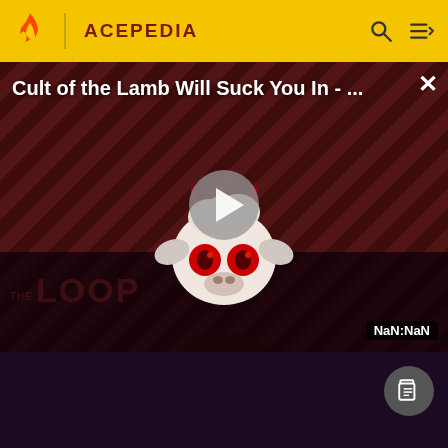ACEPEDIA
[Figure (screenshot): Video thumbnail showing 'Cult of the Lamb Will Suck You In - ...' with a lamb character with devil horns and red eyes, diagonal dark red and black stripes background, 'THE LOOP' text overlay, a play button in the center, and NaN:NaN time badge in bottom right. Close (X) button top right.]
[Figure (other): Dark purple/black background with a circular document icon button on the right side]